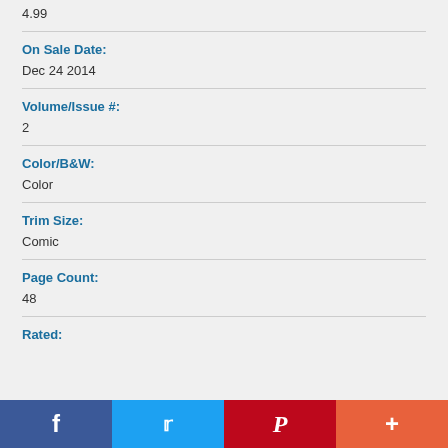4.99
On Sale Date:
Dec 24 2014
Volume/Issue #:
2
Color/B&W:
Color
Trim Size:
Comic
Page Count:
48
Rated: